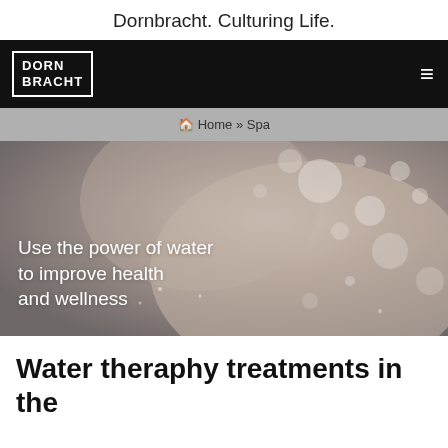Dornbracht. Culturing Life.
[Figure (screenshot): Dornbracht logo in white text on black nav bar with hamburger menu icon on right]
🏠 Home » Spa
[Figure (photo): Close-up of a hand or shoulder with water droplets and bokeh light effects in grey tones, with white text overlay: Use the power of water to improve health and wellness]
Water theraphy treatments in the